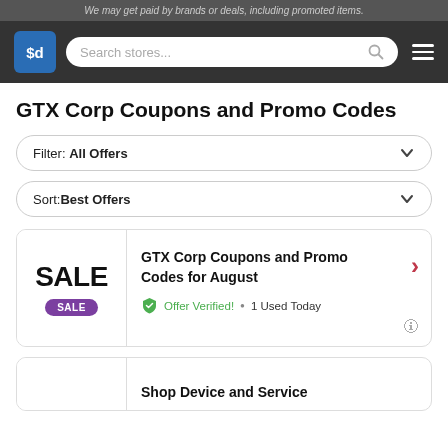We may get paid by brands or deals, including promoted items.
[Figure (logo): Savings.com ($d) logo with search bar and hamburger menu navigation on dark background]
GTX Corp Coupons and Promo Codes
Filter: All Offers
Sort: Best Offers
GTX Corp Coupons and Promo Codes for August
Offer Verified! • 1 Used Today
Shop Device and Service